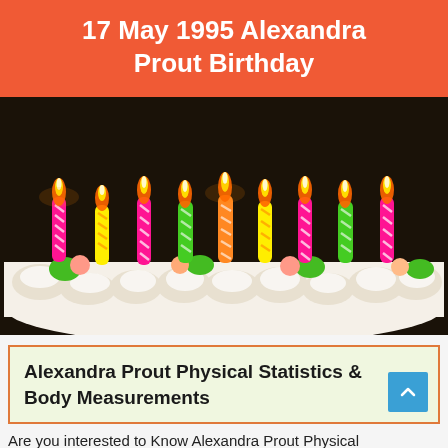17 May 1995 Alexandra Prout Birthday
[Figure (photo): A birthday cake with many lit colorful candles (pink, yellow, green, orange) on a white frosted cake, dark background]
Alexandra Prout Physical Statistics & Body Measurements
Are you interested to Know Alexandra Prout Physical